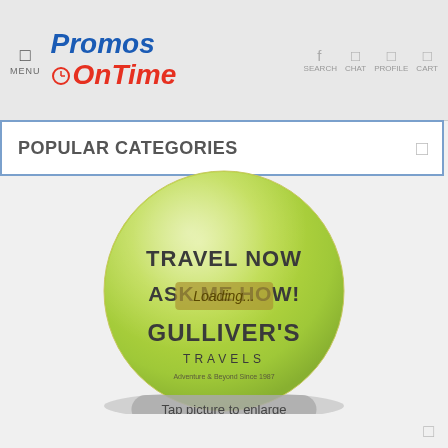MENU | Promos OnTime | SEARCH CHAT PROFILE CART
POPULAR CATEGORIES
[Figure (photo): A green promotional button/pin badge with text: TRAVEL NOW ASK ME HOW! GULLIVER'S TRAVELS, with a 'Loading...' overlay in the center]
Tap picture to enlarge